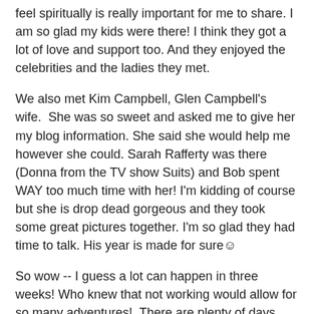feel spiritually is really important for me to share. I am so glad my kids were there! I think they got a lot of love and support too. And they enjoyed the celebrities and the ladies they met.
We also met Kim Campbell, Glen Campbell's wife. She was so sweet and asked me to give her my blog information. She said she would help me however she could. Sarah Rafferty was there (Donna from the TV show Suits) and Bob spent WAY too much time with her! I'm kidding of course but she is drop dead gorgeous and they took some great pictures together. I'm so glad they had time to talk. His year is made for sure☺
So wow -- I guess a lot can happen in three weeks! Who knew that not working would allow for so many adventures!  There are plenty of days where I am home relaxing and hanging out with my friends, having lunch and walking and just 'chillin'. But I am making the most of every minute and February will probably be another busy month. I'm living every day to the fullest and doing my best to make a difference in this world, and most importantly, to help find a